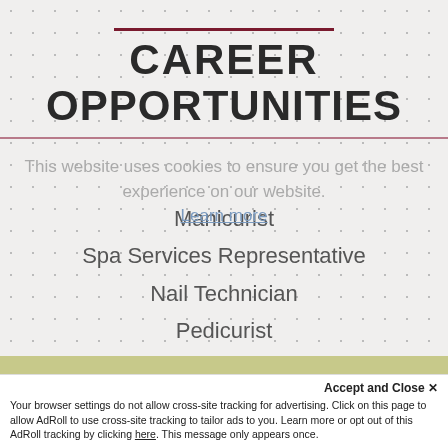CAREER OPPORTUNITIES
Manicurist
Spa Services Representative
Nail Technician
Pedicurist
This website uses cookies to ensure you get the best experience on our website. Learn more
Got it!
Accept and Close ✕ Your browser settings do not allow cross-site tracking for advertising. Click on this page to allow AdRoll to use cross-site tracking to tailor ads to you. Learn more or opt out of this AdRoll tracking by clicking here. This message only appears once.